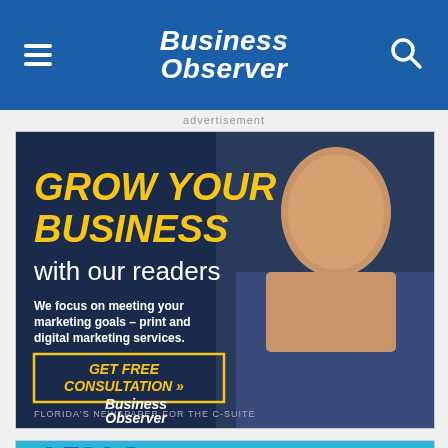Business Observer
advertisement
[Figure (photo): Business Observer advertisement banner: 'GROW YOUR BUSINESS with our readers. We focus on meeting your marketing goals - print and digital marketing services. GET FREE CONSULTATION >> Business Observer']
[Figure (photo): Partial second advertisement banner with cyan/blue background, partially visible]